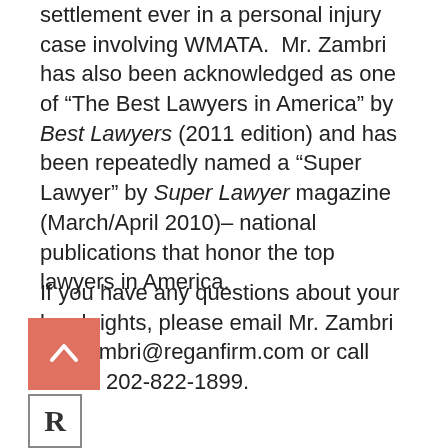settlement ever in a personal injury case involving WMATA.  Mr. Zambri has also been acknowledged as one of “The Best Lawyers in America” by Best Lawyers (2011 edition) and has been repeatedly named a “Super Lawyer” by Super Lawyer magazine (March/April 2010)– national publications that honor the top lawyers in America.
If you have any questions about your legal rights, please email Mr. Zambri at szambri@reganfirm.com or call him at 202-822-1899.
[Figure (other): Scroll-to-top button (salmon/red square with upward arrow) and a logo box with the letter R in serif font]